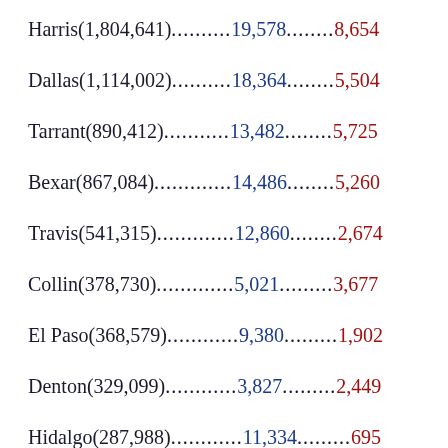Harris(1,804,641)...........19,578........8,654
Dallas(1,114,002)...........18,364........5,504
Tarrant(890,412)............13,482........5,725
Bexar(867,084).............14,486........5,260
Travis(541,315).............12,860........2,674
Collin(378,730).............5,021.........3,677
El Paso(368,579)............9,380.........1,902
Denton(329,099)............3,827.........2,449
Hidalgo(287,988)............11,334........695